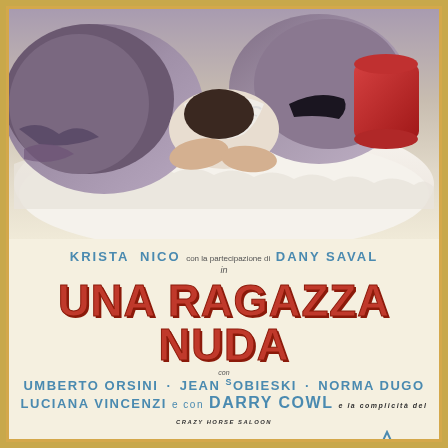[Figure (illustration): Movie poster illustration showing figures lying down with fur accessories, a red cylindrical object on right, painted/artistic style in muted blues, purples and warm tones]
KRISTA NICO con la partecipazione di DANY SAVAL
in
UNA RAGAZZA NUDA
con
UMBERTO ORSINI · JEAN SOBIESKI · NORMA DUGO
LUCIANA VINCENZI e con DARRY COWL e la complicità del CRAZY HORSE SALOON
NADIA SAFARI · POUPEE LA ROSE · BIJOU regia di JACQUES POITRENAUD
prodotto da JULES BORKON per VARIETY FILM - ROMA · LAMBOR FILM - PARIS